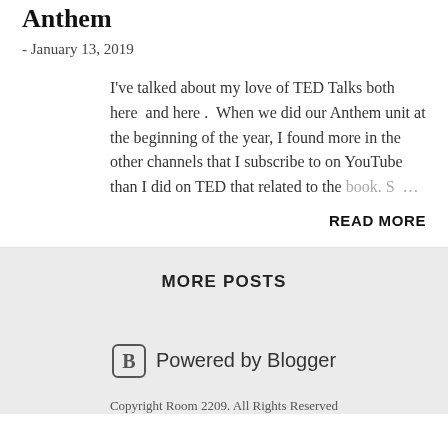Anthem
- January 13, 2019
I've talked about my love of TED Talks both here  and here .  When we did our Anthem unit at the beginning of the year, I found more in the other channels that I subscribe to on YouTube than I did on TED that related to the book. S …
READ MORE
MORE POSTS
Powered by Blogger
Copyright Room 2209. All Rights Reserved